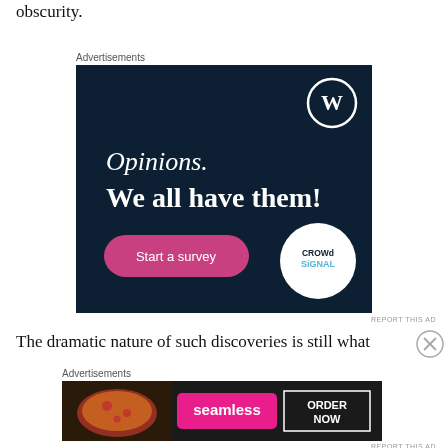obscurity.
Advertisements
[Figure (illustration): Dark navy advertisement for CrowdSignal/WordPress survey tool. Shows WordPress logo (W in circle) top right, text 'Opinions. We all have them!', pink 'Start a survey' button bottom left, CrowdSignal logo in white circle bottom right.]
REPORT THIS AD
The dramatic nature of such discoveries is still what
Advertisements
[Figure (illustration): Seamless food delivery advertisement. Dark background with pizza image on left, pink 'seamless' logo in center, 'ORDER NOW' in white box on right.]
REPORT THIS AD